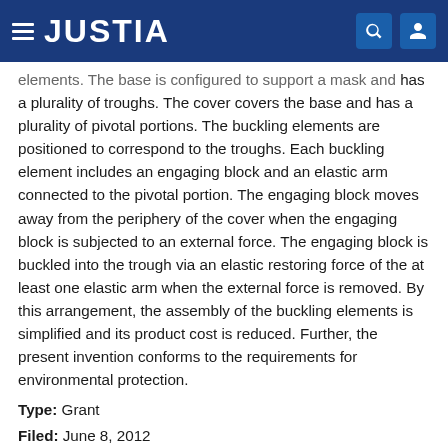JUSTIA
elements. The base is configured to support a mask and has a plurality of troughs. The cover covers the base and has a plurality of pivotal portions. The buckling elements are positioned to correspond to the troughs. Each buckling element includes an engaging block and an elastic arm connected to the pivotal portion. The engaging block moves away from the periphery of the cover when the engaging block is subjected to an external force. The engaging block is buckled into the trough via an elastic restoring force of the at least one elastic arm when the external force is removed. By this arrangement, the assembly of the buckling elements is simplified and its product cost is reduced. Further, the present invention conforms to the requirements for environmental protection.
Type: Grant
Filed: June 8, 2012